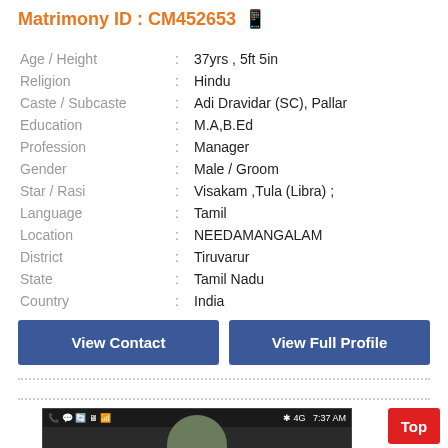Matrimony ID : CM452653
| Field | : | Value |
| --- | --- | --- |
| Age / Height | : | 37yrs , 5ft 5in |
| Religion | : | Hindu |
| Caste / Subcaste | : | Adi Dravidar (SC), Pallar |
| Education | : | M.A,B.Ed |
| Profession | : | Manager |
| Gender | : | Male / Groom |
| Star / Rasi | : | Visakam ,Tula (Libra) ; |
| Language | : | Tamil |
| Location | : | NEEDAMANGALAM |
| District | : | Tiruvarur |
| State | : | Tamil Nadu |
| Country | : | India |
View Contact
View Full Profile
[Figure (screenshot): Mobile screenshot showing status bar with 4G signal and 7:37 AM time, with a partial photo of a man in military uniform below]